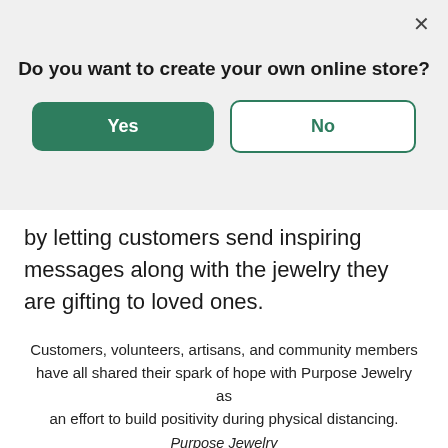Do you want to create your own online store?
by letting customers send inspiring messages along with the jewelry they are gifting to loved ones.
Customers, volunteers, artisans, and community members have all shared their spark of hope with Purpose Jewelry as an effort to build positivity during physical distancing.
Purpose Jewelry
The team's main focus now is checking in on the well-being of their network of volunteers.